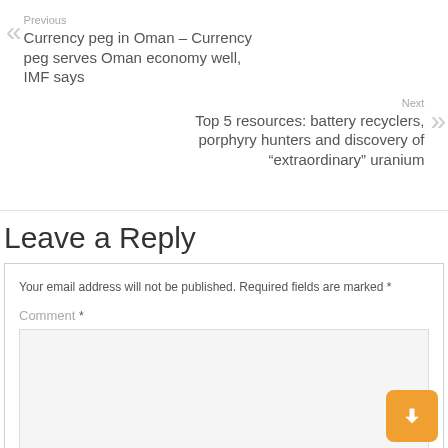Previous
Currency peg in Oman – Currency peg serves Oman economy well, IMF says
Next
Top 5 resources: battery recyclers, porphyry hunters and discovery of “extraordinary” uranium
Leave a Reply
Your email address will not be published. Required fields are marked *
Comment *
Name *